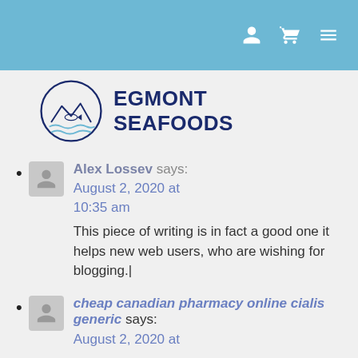Top navigation bar with user, cart, and menu icons
[Figure (logo): Egmont Seafoods logo — circular fish/wave emblem with text EGMONT SEAFOODS]
Alex Lossev says: August 2, 2020 at 10:35 am — This piece of writing is in fact a good one it helps new web users, who are wishing for blogging.|
cheap canadian pharmacy online cialis generic says: August 2, 2020 at